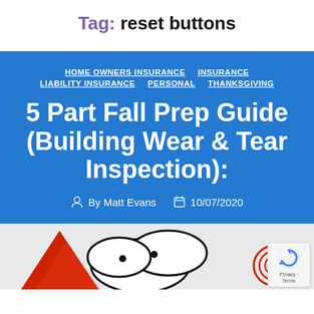Tag: reset buttons
HOME OWNERS INSURANCE  INSURANCE  LIABILITY INSURANCE  PERSONAL  THANKSGIVING
5 Part Fall Prep Guide (Building Wear & Tear Inspection):
By Matt Evans  10/07/2020
[Figure (illustration): Partial illustration showing cartoon-style drawing with red triangles and black curvy shapes on light background, bottom of page.]